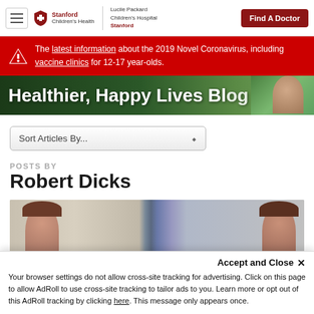Stanford Children's Health | Lucile Packard Children's Hospital Stanford | Find A Doctor
The latest information about the 2019 Novel Coronavirus, including vaccine clinics for 12-17 year-olds.
[Figure (screenshot): Healthier, Happy Lives Blog banner with green background and child photo]
Sort Articles By...
POSTS BY Robert Dicks
[Figure (photo): Two young women smiling in what appears to be a medical or school setting]
Accept and Close ×
Your browser settings do not allow cross-site tracking for advertising. Click on this page to allow AdRoll to use cross-site tracking to tailor ads to you. Learn more or opt out of this AdRoll tracking by clicking here. This message only appears once.